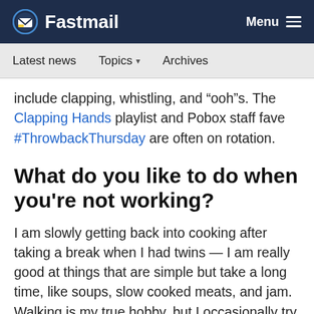Fastmail — Menu
Latest news   Topics   Archives
include clapping, whistling, and “ooh”s. The Clapping Hands playlist and Pobox staff fave #ThrowbackThursday are often on rotation.
What do you like to do when you're not working?
I am slowly getting back into cooking after taking a break when I had twins — I am really good at things that are simple but take a long time, like soups, slow cooked meats, and jam. Walking is my true hobby, but I occasionally try to upgrade it to a run.